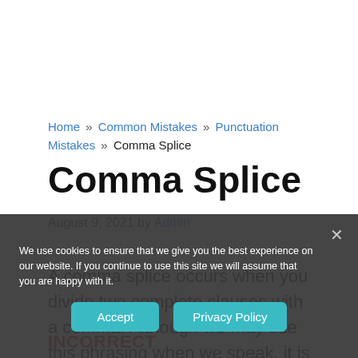Home » Common Mistakes » Punctuation Mistakes » Comma Splice
Comma Splice
August 9, 2021 by Admin
A comma splice occurs when you divide two complete clauses with a comma. Although we may use this phrasing when we speak, it is always a mistake when you write.
INCORRECT
We use cookies to ensure that we give you the best experience on our website. If you continue to use this site we will assume that you are happy with it.